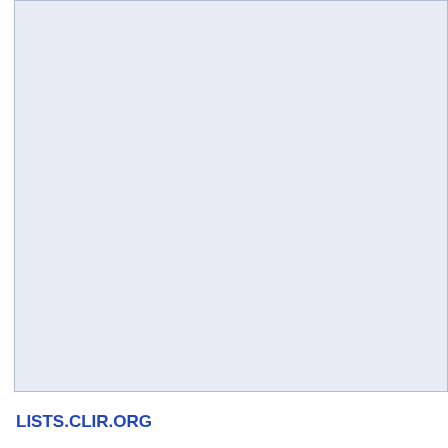[Figure (other): Light blue/grey panel area (main content area background)]
April 2002
March 2002
February 2002
January 2002
December 2001
November 2001
September 2001
August 2001
July 2001
June 2001
May 2001
April 2001
March 2001
February 2001
January 2001
December 2000
November 2000
October 2000
September 2000
August 2000
July 2000
June 2000
May 2000
April 2000
LISTS.CLIR.ORG